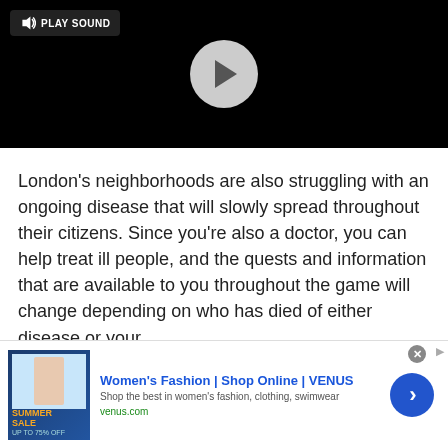[Figure (screenshot): Video player with black background, a circular play button in the center, and a 'PLAY SOUND' button in the top-left corner]
London's neighborhoods are also struggling with an ongoing disease that will slowly spread throughout their citizens. Since you're also a doctor, you can help treat ill people, and the quests and information that are available to you throughout the game will change depending on who has died of either disease or your
[Figure (screenshot): Advertisement banner: Women's Fashion | Shop Online | VENUS — Shop the best in women's fashion, clothing, swimwear — venus.com]